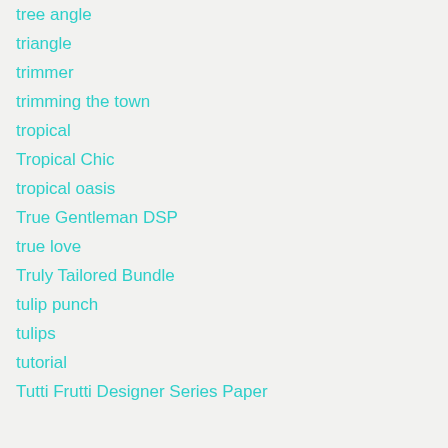tree angle
triangle
trimmer
trimming the town
tropical
Tropical Chic
tropical oasis
True Gentleman DSP
true love
Truly Tailored Bundle
tulip punch
tulips
tutorial
Tutti Frutti Designer Series Paper